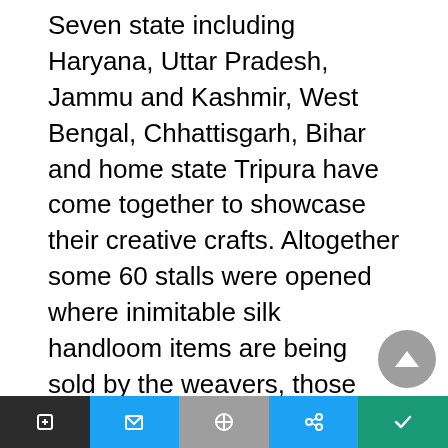Seven state including Haryana, Uttar Pradesh, Jammu and Kashmir, West Bengal, Chhattisgarh, Bihar and home state Tripura have come together to showcase their creative crafts. Altogether some 60 stalls were opened where inimitable silk handloom items are being sold by the weavers, those who produce these products.
Beside handlooms, handicraft items, ornaments and artificial decorative flowers were also on display.
According to the organizers the main aim of this expo is to improve and facilitate the entrepreneurs
social share icons